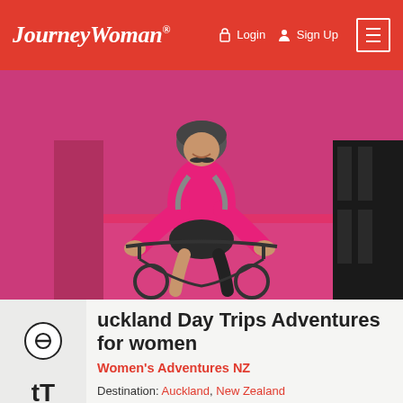JourneyWoman — Login   Sign Up
[Figure (photo): Woman in pink athletic wear riding a bicycle on a pink-colored path or road]
Auckland Day Trips Adventures for women
Women's Adventures NZ
Destination: Auckland, New Zealand
Regular day trips ex Auckland, see our website
Find out more about this tour